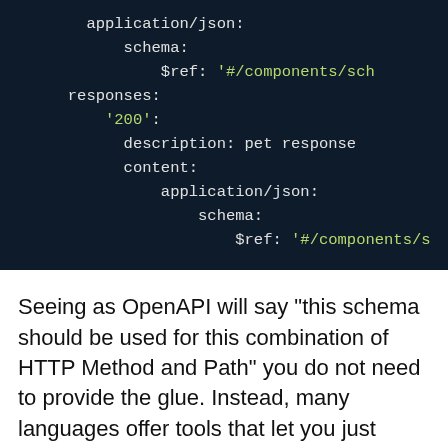[Figure (screenshot): Code screenshot showing YAML OpenAPI snippet with application/json, schema, $ref, responses, '200', description, content, application/json, schema, $ref fields on dark background]
Seeing as OpenAPI will say "this schema should be used for this combination of HTTP Method and Path" you do not need to provide the glue. Instead, many languages offer tools that let you just register a middleware, tell that middleware which OpenAPI